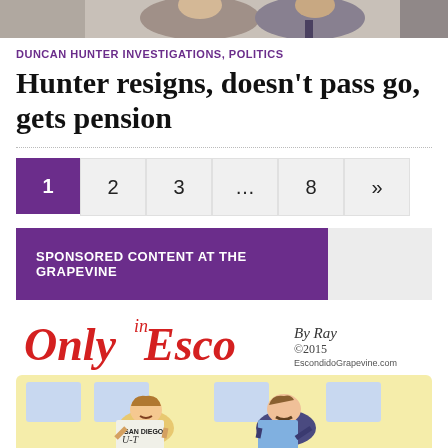[Figure (photo): Photo strip at top of page showing two people, partially cropped]
DUNCAN HUNTER INVESTIGATIONS, POLITICS
Hunter resigns, doesn't pass go, gets pension
Pagination: 1 (active), 2, 3, …, 8, »
SPONSORED CONTENT AT THE GRAPEVINE
[Figure (illustration): Only in Esco cartoon comic strip by Ray ©2015 EscondidoGrapevine.com showing two people on a bus reading newspapers]